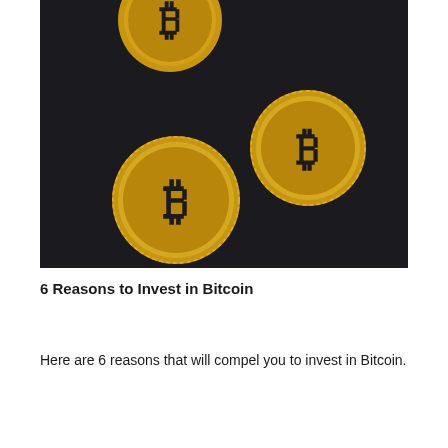[Figure (photo): Three gold Bitcoin coins falling/floating against a dark black background. The coins show the Bitcoin 'B' symbol and are golden/metallic in color.]
6 Reasons to Invest in Bitcoin
Here are 6 reasons that will compel you to invest in Bitcoin.